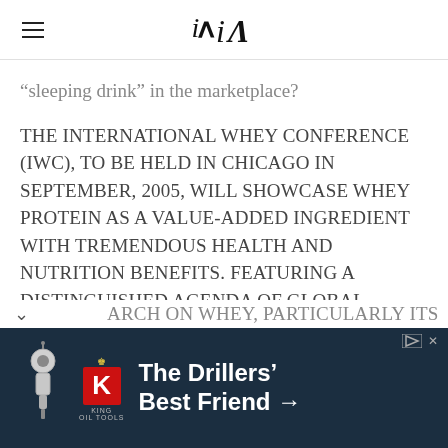iA
“sleeping drink” in the marketplace?
THE INTERNATIONAL WHEY CONFERENCE (IWC), TO BE HELD IN CHICAGO IN SEPTEMBER, 2005, WILL SHOWCASE WHEY PROTEIN AS A VALUE-ADDED INGREDIENT WITH TREMENDOUS HEALTH AND NUTRITION BENEFITS. FEATURING A DISTINGUISHED AGENDA OF GLOBAL SPEAKERS, IWC 2005 WILL PRESENT NEW RESEARCH ON WHEY, PARTICULARLY ITS
[Figure (other): Advertisement banner for King Oil Tools: 'The Drillers' Best Friend' with a robot/drill tool image and the King Oil Tools logo.]